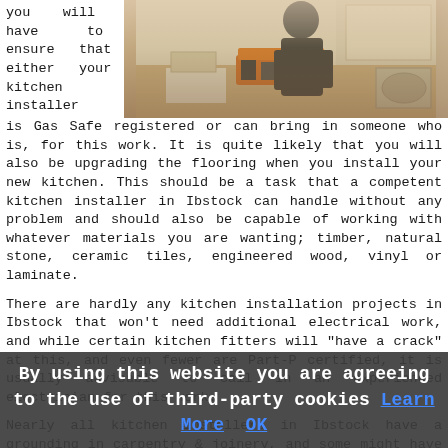you will have to ensure that either your kitchen installer
[Figure (photo): Person installing kitchen, standing at counter with tools and open toolbox]
is Gas Safe registered or can bring in someone who is, for this work. It is quite likely that you will also be upgrading the flooring when you install your new kitchen. This should be a task that a competent kitchen installer in Ibstock can handle without any problem and should also be capable of working with whatever materials you are wanting; timber, natural stone, ceramic tiles, engineered wood, vinyl or laminate.
There are hardly any kitchen installation projects in Ibstock that won't need additional electrical work, and while certain kitchen fitters will "have a crack" at this, and even fewer are Part-P certified, it is usually advisable to call in an experienced electrician for this work.
Nearly all kitchen installers in Ibstock have a grounding in carpentry & joinery, and some might have dabbled in
By using this website you are agreeing to the use of third-party cookies Learn More OK